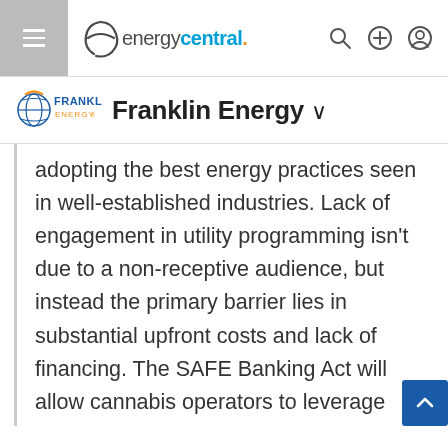energycentral.
[Figure (logo): Franklin Energy logo with text 'FRANKLIN ENERGY' and a globe icon]
Franklin Energy
adopting the best energy practices seen in well-established industries. Lack of engagement in utility programming isn't due to a non-receptive audience, but instead the primary barrier lies in substantial upfront costs and lack of financing. The SAFE Banking Act will allow cannabis operators to leverage much needed financial services while